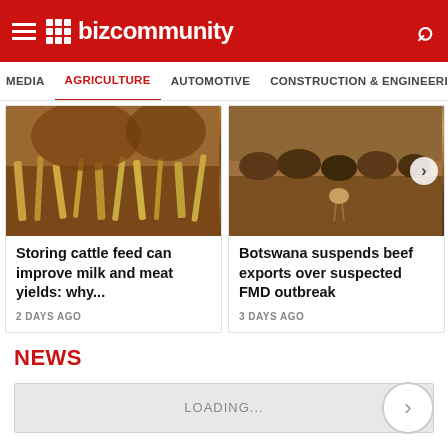Bizcommunity
MEDIA  AGRICULTURE  AUTOMOTIVE  CONSTRUCTION & ENGINEERING
[Figure (photo): Close-up photo of cattle feet and hay/straw on ground, brownish tones]
Storing cattle feed can improve milk and meat yields: why...
2 DAYS AGO
[Figure (photo): Photo of herd of cattle in a dry field, brownish/amber tones]
Botswana suspends beef exports over suspected FMD outbreak
3 DAYS AGO
NEWS
LOADING...